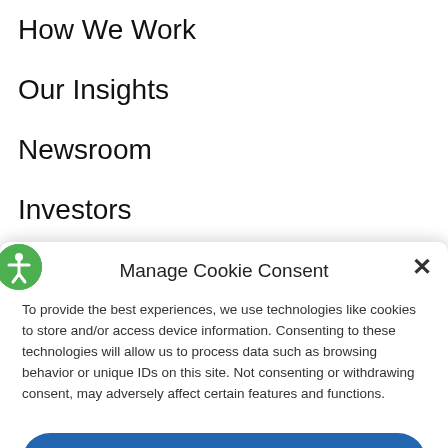How We Work
Our Insights
Newsroom
Investors
Careers
Contact Us
Manage Cookie Consent
To provide the best experiences, we use technologies like cookies to store and/or access device information. Consenting to these technologies will allow us to process data such as browsing behavior or unique IDs on this site. Not consenting or withdrawing consent, may adversely affect certain features and functions.
Accept
Privacy